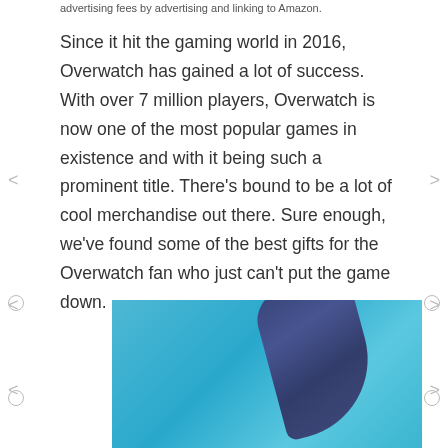advertising fees by advertising and linking to Amazon.
Since it hit the gaming world in 2016, Overwatch has gained a lot of success. With over 7 million players, Overwatch is now one of the most popular games in existence and with it being such a prominent title. There’s bound to be a lot of cool merchandise out there. Sure enough, we’ve found some of the best gifts for the Overwatch fan who just can’t put the game down.
[Figure (photo): A blue ribbon or paper curl on a light blue background, suggesting gift wrapping or decoration.]